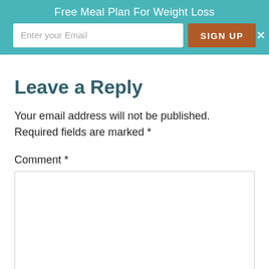Free Meal Plan For Weight Loss
Leave a Reply
Your email address will not be published. Required fields are marked *
Comment *